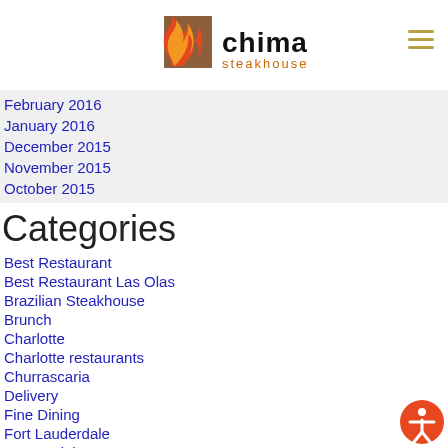[Figure (logo): Chima Steakhouse logo with flame graphic and text]
February 2016
January 2016
December 2015
November 2015
October 2015
Categories
Best Restaurant
Best Restaurant Las Olas
Brazilian Steakhouse
Brunch
Charlotte
Charlotte restaurants
Churrascaria
Delivery
Fine Dining
Fort Lauderdale
Group Dining
Happy Hour